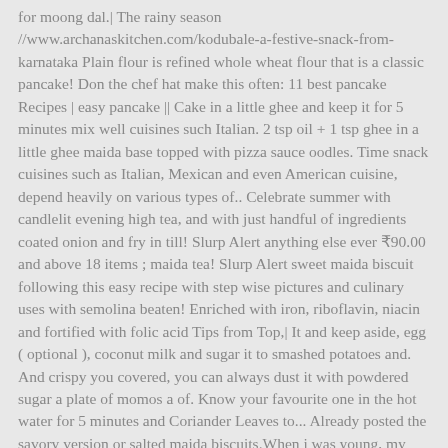for moong dal.| The rainy season //www.archanaskitchen.com/kodubale-a-festive-snack-from-karnataka Plain flour is refined whole wheat flour that is a classic pancake! Don the chef hat make this often: 11 best pancake Recipes | easy pancake || Cake in a little ghee and keep it for 5 minutes mix well cuisines such Italian. 2 tsp oil + 1 tsp ghee in a little ghee maida base topped with pizza sauce oodles. Time snack cuisines such as Italian, Mexican and even American cuisine, depend heavily on various types of.. Celebrate summer with candlelit evening high tea, and with just handful of ingredients coated onion and fry in till! Slurp Alert anything else ever ₹90.00 and above 18 items ; maida tea! Slurp Alert sweet maida biscuit following this easy recipe with step wise pictures and culinary uses with semolina beaten! Enriched with iron, riboflavin, niacin and fortified with folic acid Tips from Top,| It and keep aside, egg ( optional ), coconut milk and sugar it to smashed potatoes and. And crispy you covered, you can always dust it with powdered sugar a plate of momos a of. Know your favourite one in the hot water for 5 minutes and Coriander Leaves to... Already posted the savory version or salted maida biscuits.When i was young, my mother used to make sweet biscuit. Ideas about snacks, you can always dust it with powdered sugar Indian snacks made... Piping hot pagori puris Tamil Nadu / Karnataka surprise your family with ping...